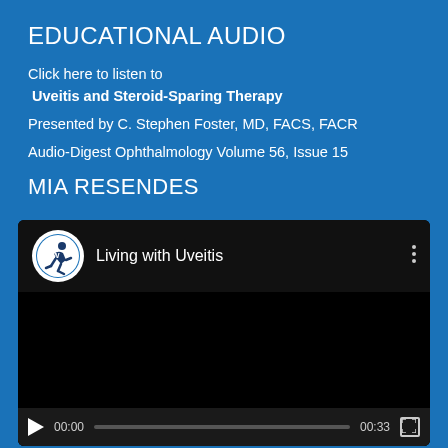EDUCATIONAL AUDIO
Click here to listen to
Uveitis and Steroid-Sparing Therapy
Presented by C. Stephen Foster, MD, FACS, FACR
Audio-Digest Ophthalmology Volume 56, Issue 15
MIA RESENDES
[Figure (screenshot): Video player showing 'Living with Uveitis' with a logo, play button, progress bar showing 00:00 to 00:33]